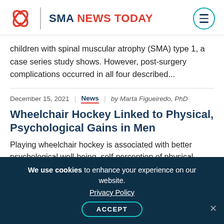SMA NEWS TODAY
children with spinal muscular atrophy (SMA) type 1, a case series study shows. However, post-surgery complications occurred in all four described...
December 15, 2021 | News | by Marta Figueiredo, PhD
Wheelchair Hockey Linked to Physical, Psychological Gains in Men
Playing wheelchair hockey is associated with better psychological well-being, self-perception of physical abilities, and quality of life in men with spinal muscular atrophy (SMA) and Duchenne
We use cookies to enhance your experience on our website. Privacy Policy ACCEPT